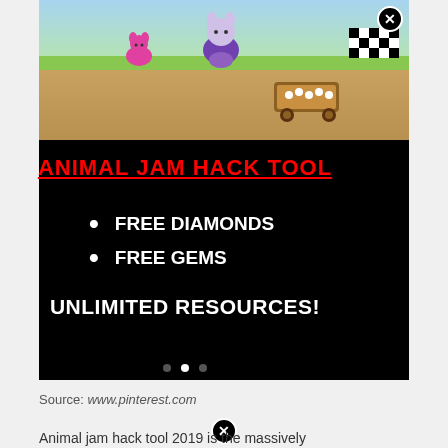[Figure (screenshot): Animal Jam video game screenshot showing colorful game world with animal characters, a cart, and a checkered flag]
ANIMAL JAM HACK TOOL
FREE DIAMONDS
FREE GEMS
UNLIMITED RESOURCES!
Source: www.pinterest.com
Animal jam hack tool 2019 is the massively